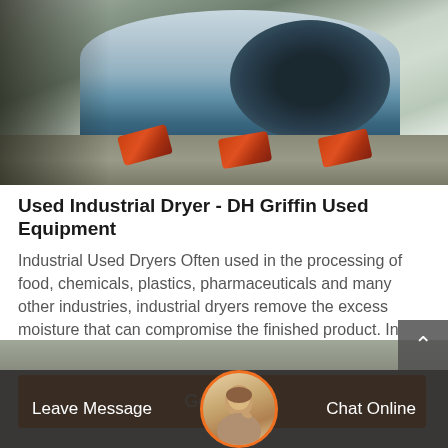[Figure (photo): Industrial rotary dryer drum on rollers in an outdoor or warehouse setting. Large cylindrical steel drum with orange roller supports visible underneath.]
Used Industrial Dryer - DH Griffin Used Equipment
Industrial Used Dryers Often used in the processing of food, chemicals, plastics, pharmaceuticals and many other industries, industrial dryers remove the excess moisture that can compromise the finished product. In fact, any industry that can be affected b…
Get Price
Leave Message
Chat Online